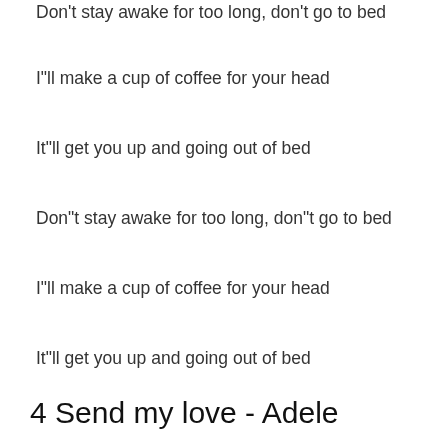Don't stay awake for too long, don't go to bed
I"ll make a cup of coffee for your head
It"ll get you up and going out of bed
Don"t stay awake for too long, don"t go to bed
I"ll make a cup of coffee for your head
It"ll get you up and going out of bed
4 Send my love - Adele
Ca sĩ: AdeleSáng tác: Adele, Max Martin và ShellbackAlbum: To Your New LoverThể loại: PopNgày phát hành: 16 tháng 5 năm 2016Thời lượng: 03:41Link